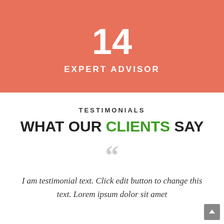14
EXPERT ADVISOR
TESTIMONIALS
WHAT OUR CLIENTS SAY
I am testimonial text. Click edit button to change this text. Lorem ipsum dolor sit amet